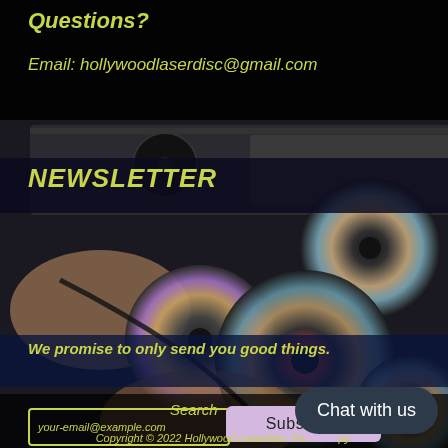Questions?
Email: hollywoodlaserdisc@gmail.com
[Figure (photo): Background photo of hands handling laser discs and a disc player on a dark surface]
NEWSLETTER
We promise to only send you good things.
your-email@example.com
Subscribe
Search
Chat with us
Copyright © 2022 Hollywood Laserdisc. Powered by Shopify.